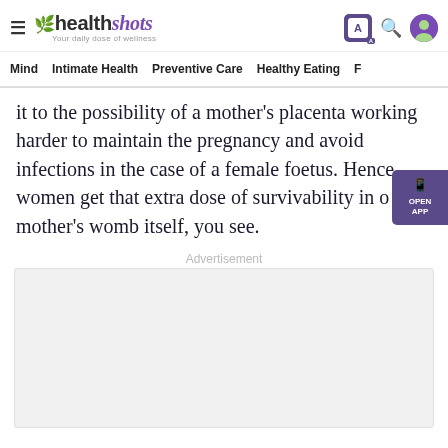healthshots — Your daily dose of wellness
Mind | Intimate Health | Preventive Care | Healthy Eating | F
it to the possibility of a mother's placenta working harder to maintain the pregnancy and avoid infections in the case of a female foetus. Hence, women get that extra dose of survivability in our mother's womb itself, you see.
Advertisement